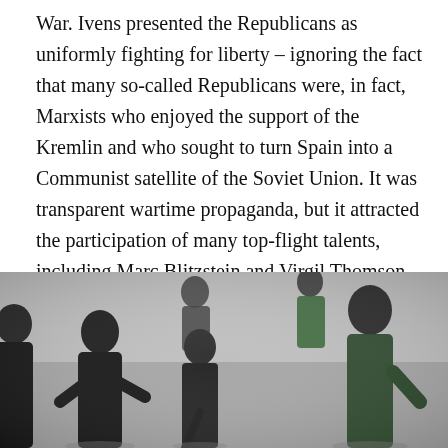War. Ivens presented the Republicans as uniformly fighting for liberty – ignoring the fact that many so-called Republicans were, in fact, Marxists who enjoyed the support of the Kremlin and who sought to turn Spain into a Communist satellite of the Soviet Union. It was transparent wartime propaganda, but it attracted the participation of many top-flight talents, including Marc Blitzstein and Virgil Thomson, who composed the music, Ernest Hemingway, who wrote and read the voice-over narration, and Jean Renoir, who did the French-language voice-over.
[Figure (photo): Black and white photograph showing a group of people walking, including adults and a child in the foreground, on what appears to be an open road or field.]